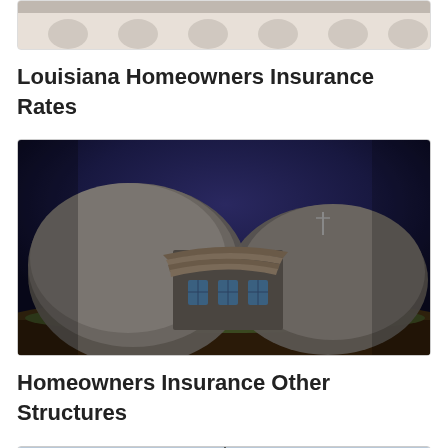[Figure (photo): Partial view of a white building with arches, clipped at top of page]
Louisiana Homeowners Insurance Rates
[Figure (photo): A stone house built between two large boulders on a hill under a dark blue night sky]
Homeowners Insurance Other Structures
[Figure (photo): Partial view of a tower structure with antennas against a light sky, clipped at bottom of page]